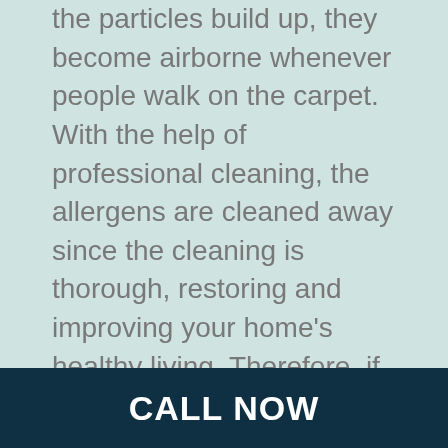the particles build up, they become airborne whenever people walk on the carpet. With the help of professional cleaning, the allergens are cleaned away since the cleaning is thorough, restoring and improving your home's healthy living. Therefore, if you have allergies, regular cleaning of your carpet is vital to living a healthy life.
The colour of your carpet
Despite bright-coloured carpets
CALL NOW